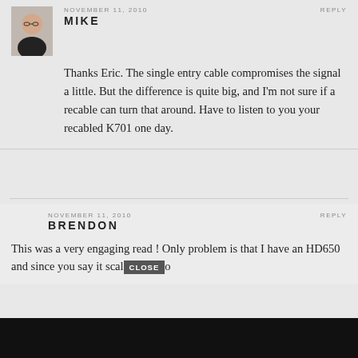[Figure (photo): Avatar photo of Mike, a person in a black t-shirt]
NOVEMBER 11, 2010
REPLY
MIKE
Thanks Eric. The single entry cable compromises the signal a little. But the difference is quite big, and I'm not sure if a recable can turn that around. Have to listen to you your recabled K701 one day.
NOVEMBER 11, 2010
REPLY
BRENDON
This was a very engaging read ! Only problem is that I have an HD650 and since you say it scal...o